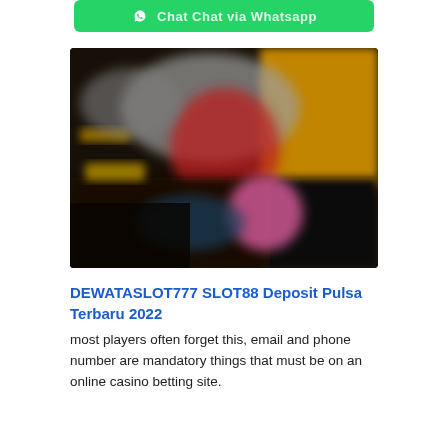[Figure (other): Green WhatsApp button bar with chat icon and text 'Chat Chat via Whatsapp']
[Figure (photo): Blurred casino scene with slot machines, colorful lights, yellow and dark background elements]
DEWATASLOT777 SLOT88 Deposit Pulsa Terbaru 2022
most players often forget this, email and phone number are mandatory things that must be on an online casino betting site.